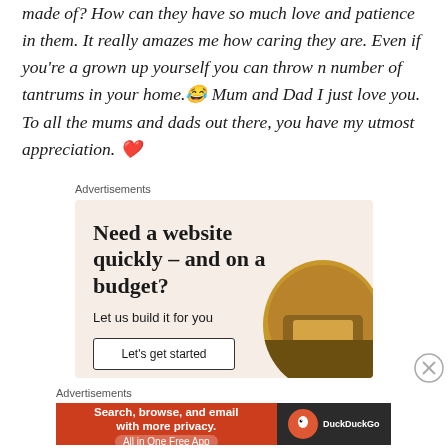made of? How can they have so much love and patience in them. It really amazes me how caring they are. Even if you're a grown up yourself you can throw n number of tantrums in your home.😂 Mum and Dad I just love you. To all the mums and dads out there, you have my utmost appreciation. ❤
Advertisements
[Figure (infographic): Advertisement for website building service: 'Need a website quickly – and on a budget? Let us build it for you' with a 'Let's get started' button and a circular image of a person working on a laptop.]
[Figure (infographic): Close button (X in circle) for advertisement.]
Advertisements
[Figure (infographic): DuckDuckGo advertisement: 'Search, browse, and email with more privacy. All in One Free App' on orange background with DuckDuckGo logo on dark right panel.]